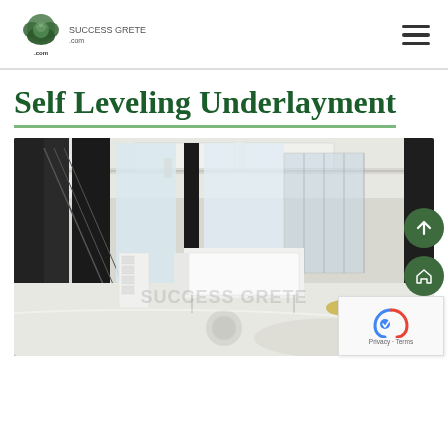Success Crete .com — navigation header with hamburger menu
Self Leveling Underlayment
[Figure (photo): Interior construction/renovation photo showing a large open office or commercial space with a smooth white self-leveling concrete floor, white walls, large windows with black frames, exposed ceiling with ductwork, and white modular furniture/desks. A watermark reads 'SUCCESS CRETE' with a logo. Green circular floating action buttons (up arrow and home icon) are overlaid on the right side, along with a reCAPTCHA badge and Privacy/Terms links.]